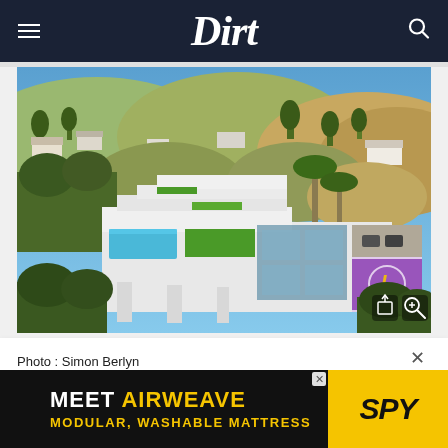Dirt
[Figure (photo): Aerial drone photo of a large modern luxury mansion with multiple terraces, infinity pool, rooftop greenery, a basketball court with purple/gold Lakers logo, and palm trees, set against a hillside with other homes and trees under a blue sky. Photo credit: Simon Berlyn.]
Photo : Simon Berlyn
[Figure (other): Advertisement banner: MEET AIRWEAVE / MODULAR, WASHABLE MATTRESS with SPY logo on yellow background]